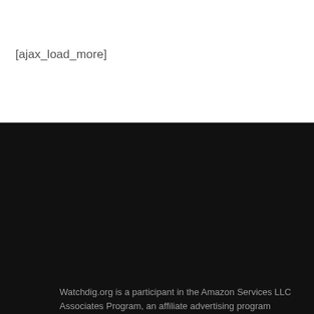[ajax_load_more]
Watchdig.org is a participant in the Amazon Services LLC Associates Program, an affiliate advertising program designed to provide a means for sites to earn advertising fees by advertising and linking to Amazon. Certain content that appears on Watchdig.org comes from Amazon Services LLC. This content is provided ‘as is’ and is subject to change or removal at any time.
[Figure (infographic): Four social media icon buttons (Facebook, Twitter, Instagram, Pinterest) arranged horizontally on dark background]
[Figure (logo): DMCA Protected badge with cyan left panel and dark right panel]